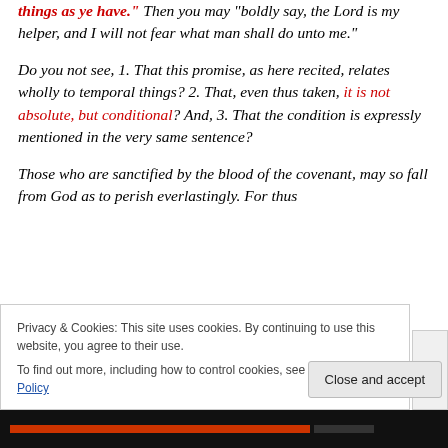things as ye have." Then you may "boldly say, the Lord is my helper, and I will not fear what man shall do unto me."
Do you not see, 1. That this promise, as here recited, relates wholly to temporal things? 2. That, even thus taken, it is not absolute, but conditional? And, 3. That the condition is expressly mentioned in the very same sentence?
Those who are sanctified by the blood of the covenant, may so fall from God as to perish everlastingly. For thus
Privacy & Cookies: This site uses cookies. By continuing to use this website, you agree to their use.
To find out more, including how to control cookies, see here: Cookie Policy